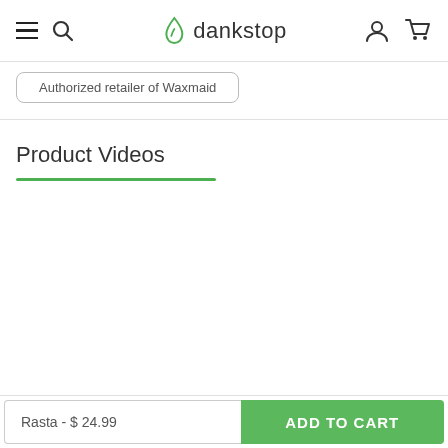dankstop — navigation bar with hamburger menu, search, logo, account and cart icons
Authorized retailer of Waxmaid
Product Videos
Rasta - $ 24.99
ADD TO CART